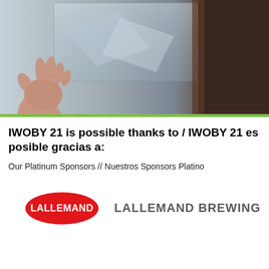[Figure (photo): Photo of a person's hand gesturing, with a blurred background suggesting a presentation or conference setting.]
IWOBY 21 is possible thanks to / IWOBY 21 es posible gracias a:
Our Platinum Sponsors // Nuestros Sponsors Platino
[Figure (logo): Lallemand logo: red oval with white text LALLEMAND, followed by LALLEMAND BREWING in bold gray text.]